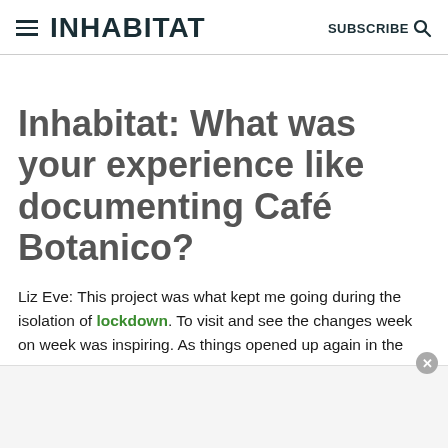INHABITAT SUBSCRIBE
Inhabitat: What was your experience like documenting Café Botanico?
Liz Eve: This project was what kept me going during the isolation of lockdown. To visit and see the changes week on week was inspiring. As things opened up again in the